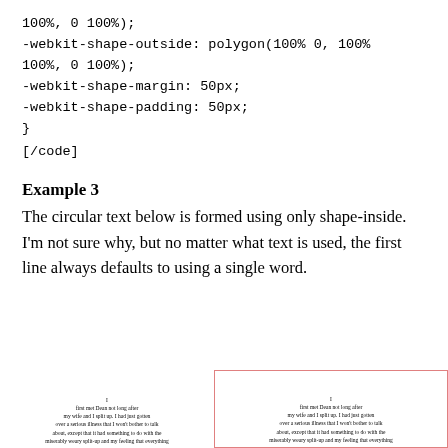100%, 0 100%);
-webkit-shape-outside: polygon(100% 0, 100% 100%, 0 100%);
-webkit-shape-margin: 50px;
-webkit-shape-padding: 50px;
}
[/code]
Example 3
The circular text below is formed using only shape-inside. I'm not sure why, but no matter what text is used, the first line always defaults to using a single word.
[Figure (illustration): Two side-by-side small text illustrations showing circular/shaped text layout using shape-inside CSS property. Left image has no border; right image has a pink/red border. Both show small paragraphs of text starting with 'I first met Dean not long after my wife and I split up. I had just gotten over a serious illness that I won't bother to talk about, except that it had something to do with the miserably weary split-up and my feeling that everything...']